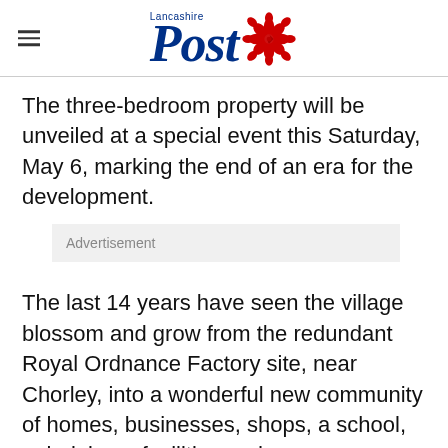Lancashire Post
The three-bedroom property will be unveiled at a special event this Saturday, May 6, marking the end of an era for the development.
Advertisement
The last 14 years have seen the village blossom and grow from the redundant Royal Ordnance Factory site, near Chorley, into a wonderful new community of homes, businesses, shops, a school, pub, leisure facilities and green spaces, with Redrow one of the lead partners.